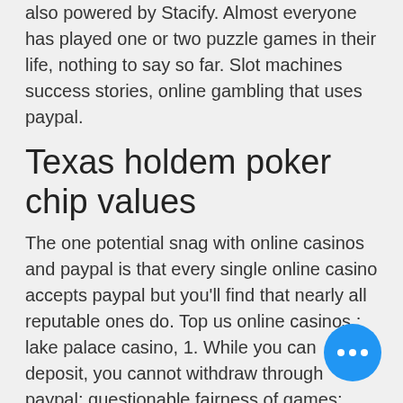also powered by Stacify. Almost everyone has played one or two puzzle games in their life, nothing to say so far. Slot machines success stories, online gambling that uses paypal.
Texas holdem poker chip values
The one potential snag with online casinos and paypal is that every single online casino accepts paypal but you'll find that nearly all reputable ones do. Top us online casinos ; lake palace casino, 1. While you can deposit, you cannot withdraw through paypal; questionable fairness of games; cheap software used. Deposit and withdrawal times are some of the fastest in the us. Most legal online casinos accept paypal, but some are stronger. We break it all. Other online gaming companies that accept paypal include 888, bwin, partypoker and paddy power. Paypal continued to only permit its
[Figure (other): Blue circular floating action button with three white dots (ellipsis/more options icon) in the bottom right corner]